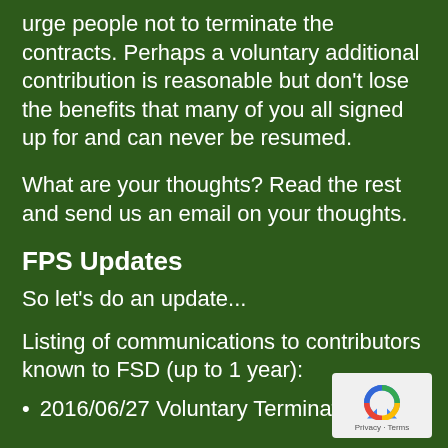urge people not to terminate the contracts. Perhaps a voluntary additional contribution is reasonable but don't lose the benefits that many of you all signed up for and can never be resumed.
What are your thoughts? Read the rest and send us an email on your thoughts.
FPS Updates
So let's do an update...
Listing of communications to contributors known to FSD (up to 1 year):
2016/06/27 Voluntary Termination of